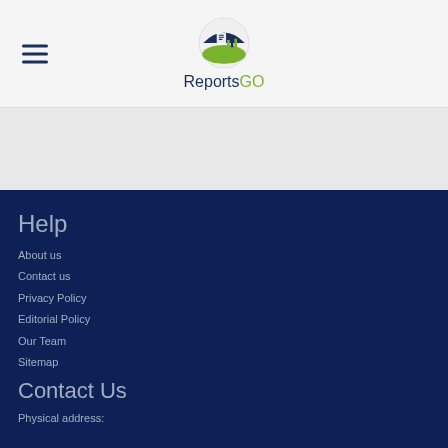[Figure (logo): ReportsGO logo with a circular icon showing a bar chart and papers above the text 'ReportsGO' where 'Reports' is in dark navy and 'GO' is in lime green]
Help
About us
Contact us
Privacy Policy
Editorial Policy
Our Team
Sitemap
Contact Us
Physical address: